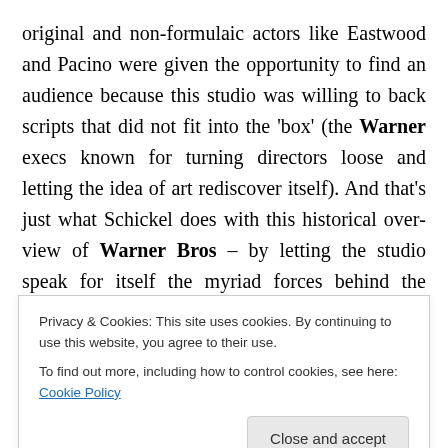original and non-formulaic actors like Eastwood and Pacino were given the opportunity to find an audience because this studio was willing to back scripts that did not fit into the 'box' (the Warner execs known for turning directors loose and letting the idea of art rediscover itself). And that's just what Schickel does with this historical overview of Warner Bros – by letting the studio speak for itself the myriad forces behind the creation of these films are illuminated (as the interviews with the likes of Alfred Hitchcock, James Cagney, Ronald Regan, Warren Beatty, Arthur Penn, Clint Eastwood, Martin Scorsese, Steven
Privacy & Cookies: This site uses cookies. By continuing to use this website, you agree to their use.
To find out more, including how to control cookies, see here: Cookie Policy